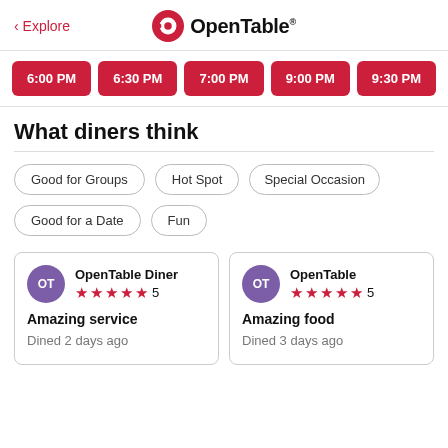< Explore  OpenTable
6:00 PM | 6:30 PM | 7:00 PM | 9:00 PM | 9:30 PM
What diners think
Good for Groups
Hot Spot
Special Occasion
Good for a Date
Fun
OpenTable Diner ★★★★★ 5
Amazing service
Dined 2 days ago
OpenTable ★★★★★ 5
Amazing food
Dined 3 days ago